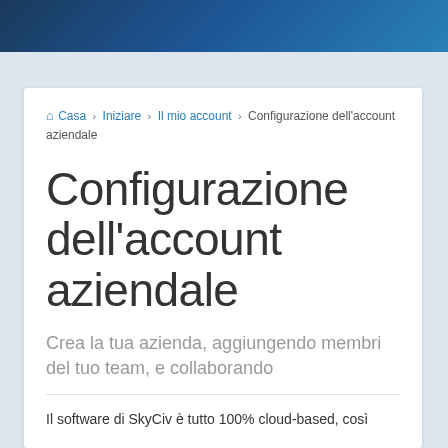🏠 Casa > Iniziare > Il mio account > Configurazione dell'account aziendale
Configurazione dell'account aziendale
Crea la tua azienda, aggiungendo membri del tuo team, e collaborando
Il software di SkyCiv è tutto 100% cloud-based, così